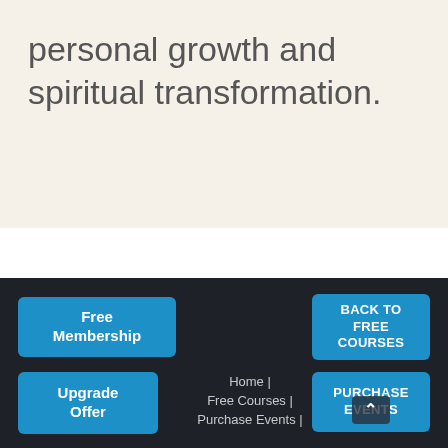personal growth and spiritual transformation.
Free Membership
BACK TO FREE COURSES
Upgrade Offer
Home | Free Courses | Purchase Events |
PURCHASE EVENTS